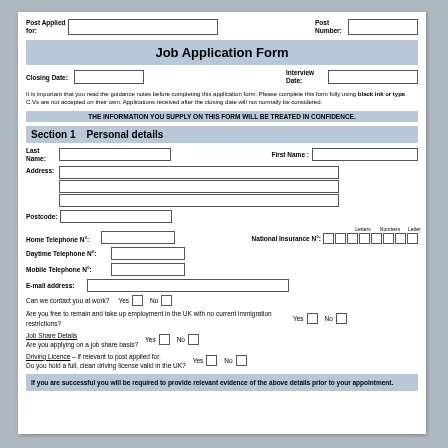| Post Applied for: |  | Post Number: |  |
| --- | --- | --- | --- |
|  |
Job Application Form
| Closing Date: |  | Interview Date: |  |
| --- | --- | --- | --- |
|  |
It is important that you read the guidance notes before completing this application form. Please complete this form fully using black ink or type. C.Vs are not accepted on their own. Applications received after the closing date will not normally be considered.
THE INFORMATION YOU SUPPLY ON THIS FORM WILL BE TREATED IN CONFIDENCE.
Section 1    Personal details
| Last Name: |  | First Name: |  |
| --- | --- | --- | --- |
|  |
| Address: |  |
| --- | --- |
|  |
|  |
|  |
| Postcode: |  |
| --- | --- |
|  |
| Home Telephone N°: |  | National Insurance N°: |  |
| --- | --- | --- | --- |
|  |
| Daytime Telephone N°: |  |
| --- | --- |
|  |
| Mobile Telephone N°: |  |
| --- | --- |
|  |
| E-mail address: |  |
| --- | --- |
|  |
Can we contact you at work?   Yes  □  No  □
Are you free to remain and take up employment in the UK with no current immigration restrictions?  Yes □  No □
Job Share Details
Are you applying on a job share basis?  Yes □  No □
Driving Licence – if relevant to post applied for.
Do you hold a full, clean driving license valid in the UK?  Yes □  No □
If you are successful you will be required to provide relevant evidence of the above details prior to your appointment.